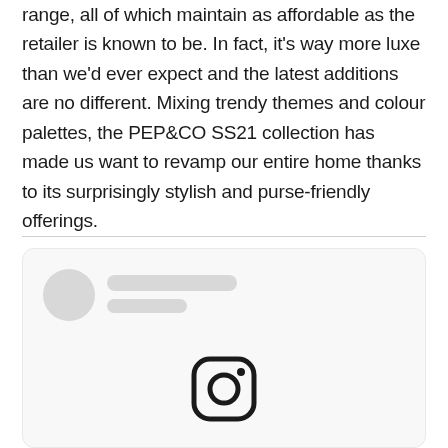range, all of which maintain as affordable as the retailer is known to be. In fact, it's way more luxe than we'd ever expect and the latest additions are no different. Mixing trendy themes and colour palettes, the PEP&CO SS21 collection has made us want to revamp our entire home thanks to its surprisingly stylish and purse-friendly offerings.
[Figure (screenshot): A social media card placeholder with a circular avatar placeholder and two grey rounded rectangle lines representing username and handle, with an Instagram icon at the bottom center.]